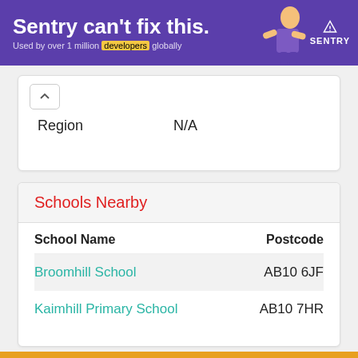[Figure (illustration): Purple Sentry advertisement banner with text 'Sentry can't fix this.' and 'Used by over 1 million developers globally', with Sentry logo and illustration of a person]
|  |  |
| --- | --- |
| Region | N/A |
Schools Nearby
| School Name | Postcode |
| --- | --- |
| Broomhill School | AB10 6JF |
| Kaimhill Primary School | AB10 7HR |